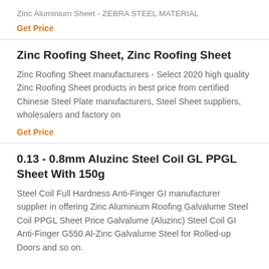Zinc Aluminium Sheet - ZEBRA STEEL MATERIAL
Get Price
Zinc Roofing Sheet, Zinc Roofing Sheet
Zinc Roofing Sheet manufacturers - Select 2020 high quality Zinc Roofing Sheet products in best price from certified Chinese Steel Plate manufacturers, Steel Sheet suppliers, wholesalers and factory on
Get Price
0.13 - 0.8mm Aluzinc Steel Coil GL PPGL Sheet With 150g
Steel Coil Full Hardness Anti-Finger GI manufacturer supplier in offering Zinc Aluminium Roofing Galvalume Steel Coil PPGL Sheet Price Galvalume (Aluzinc) Steel Coil GI Anti-Finger G550 Al-Zinc Galvalume Steel for Rolled-up Doors and so on.